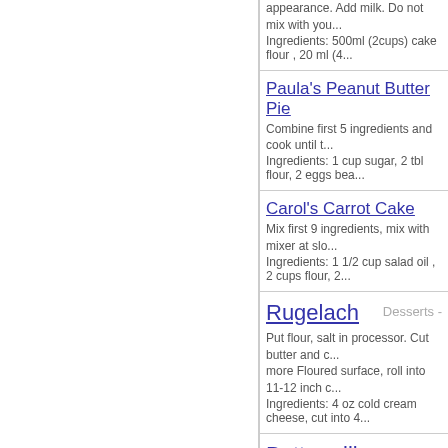appearance. Add milk. Do not mix with you...
Ingredients: 500ml (2cups) cake flour , 20 ml (4...
Paula's Peanut Butter Pie
Combine first 5 ingredients and cook until t...
Ingredients: 1 cup sugar, 2 tbl flour, 2 eggs bea...
Carol's Carrot Cake
Mix first 9 ingredients, mix with mixer at slo...
Ingredients: 1 1/2 cup salad oil , 2 cups flour, 2...
Rugelach
Desserts -
Put flour, salt in processor. Cut butter and c...
more Floured surface, roll into 11-12 inch c...
Ingredients: 4 oz cold cream cheese, cut into 4...
Buttermilk Waffles
Preheat waffle maker....
Ingredients: 2c flour, 1t baking soda, 1 1/2 t sal...
Potato Pancakes
Heat grill to med-high heat. Adjust if neces...
Ingredients: 1-1 1/2 c mashed potatoes, 2 eggs,...
Toffee Bars
Desserts
Lightly spray large cookie sheet. Mix butte...
oats. Combine well. Press into the bottom o...
Ingredients: COOKIE CRUST, 1 cup soft butte...
White Chocolate Cheesecak...